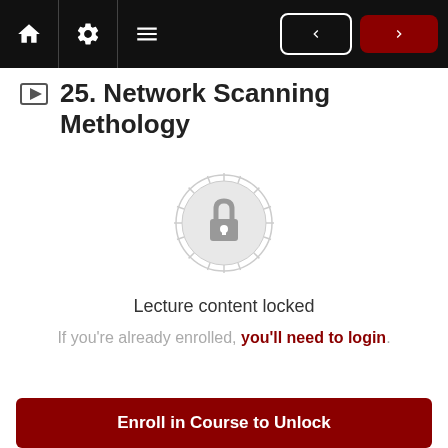Navigation bar with home, settings, menu icons and prev/next buttons
25. Network Scanning Methology
[Figure (illustration): Lock icon inside a decorative circular badge/seal shape, indicating locked content]
Lecture content locked
If you're already enrolled, you'll need to login.
Enroll in Course to Unlock